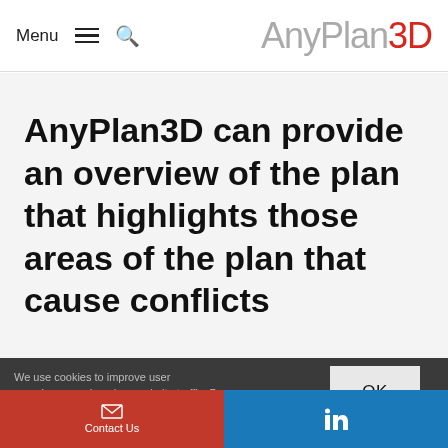Menu  AnyPlan3D
AnyPlan3D can provide an overview of the plan that highlights those areas of the plan that cause conflicts
We use cookies to improve user experience, and analyze website traffic. By clicking “Accept Cookies,” you consent to store on your device all the technologies described in our Cookie Policy. Settings ∨
Contact Us  LinkedIn